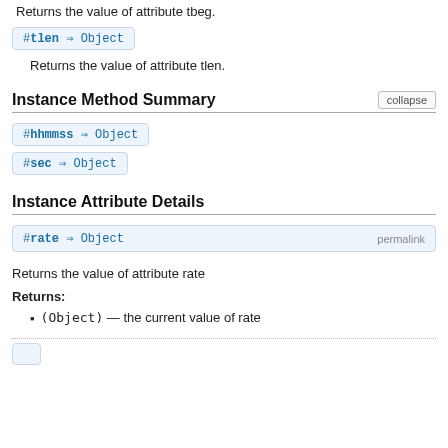Returns the value of attribute tbeg.
#tlen ⇒ Object
Returns the value of attribute tlen.
Instance Method Summary
#hhmmss ⇒ Object
#sec ⇒ Object
Instance Attribute Details
#rate ⇒ Object  permalink
Returns the value of attribute rate
Returns:
(Object) — the current value of rate